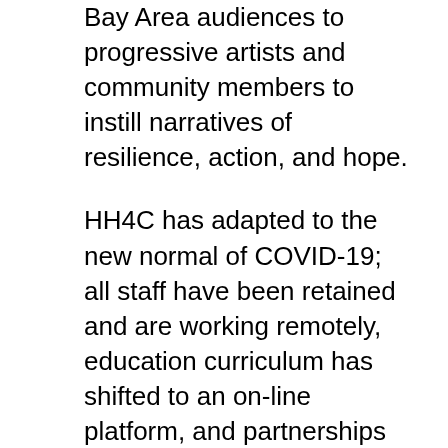Bay Area audiences to progressive artists and community members to instill narratives of resilience, action, and hope.
HH4C has adapted to the new normal of COVID-19; all staff have been retained and are working remotely, education curriculum has shifted to an on-line platform, and partnerships and programming have been successfully transitioned to virtual platforms. HH4C has suffered a loss in revenue due to the pandemic. Their 2020 budget has shrunk by 37% to $610,000. HH4C receives the majority of its support through public contracts and grants. About ten percent of its funding comes from private grants (ZFF has supported HH4C with four grants totaling $13,300 since 2015).
Awarding this year's WJZ Award to HH4C is a timely and wonderful acknowledgment of the